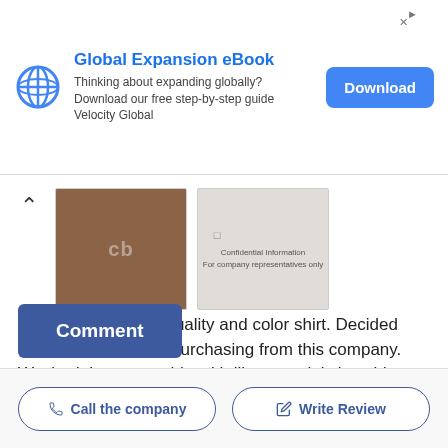[Figure (infographic): Advertisement banner for Global Expansion eBook by Velocity Global with a blue globe icon logo, download button, and close/info icons]
[Figure (photo): Two thumbnail images: a brown sweatshirt and a light-colored document with confidential information text]
Received 2nd poor quality and color shirt. Decided that was my fate for purchasing from this company. Washed the sweat shirt with like materials in cold water and the logo washed off.. User's recommendation: Do not purchase any thing from this company.
Comment
Call the company
Write Review